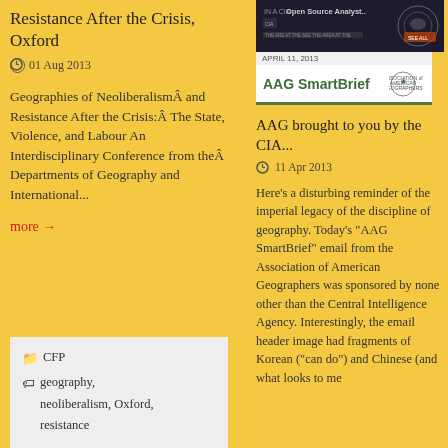Resistance After the Crisis, Oxford
01 Aug 2013
Geographies of NeoliberalismÂ and Resistance After the Crisis:Â The State, Violence, and Labour An Interdisciplinary Conference from theÂ Departments of Geography and International...
more →
CFP
geography, neoliberalism, Oxford, resistance
[Figure (screenshot): CIA Open Source Analyst header image with dark background and CIA seal]
AAG SmartBrief
AAG brought to you by the CIA...
11 Apr 2013
Here's a disturbing reminder of the imperial legacy of the discipline of geography. Today's "AAG SmartBrief" email from the Association of American Geographers was sponsored by none other than the Central Intelligence Agency. Interestingly, the email header image had fragments of Korean ("can do") and Chinese (and what looks to me